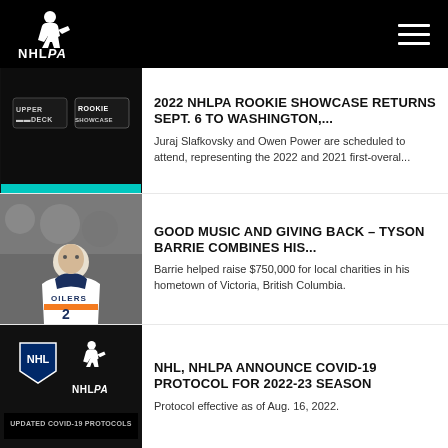NHLPA
[Figure (photo): Upper Deck Rookie Showcase logo on dark background with teal accent bar]
2022 NHLPA ROOKIE SHOWCASE RETURNS SEPT. 6 TO WASHINGTON,...
Juraj Slafkovsky and Owen Power are scheduled to attend, representing the 2022 and 2021 first-overal...
[Figure (photo): Tyson Barrie in Edmonton Oilers white jersey with crowd in background]
GOOD MUSIC AND GIVING BACK – TYSON BARRIE COMBINES HIS...
Barrie helped raise $750,000 for local charities in his hometown of Victoria, British Columbia.
[Figure (photo): NHL and NHLPA logos on dark background with Updated COVID-19 Protocols text]
NHL, NHLPA ANNOUNCE COVID-19 PROTOCOL FOR 2022-23 SEASON
Protocol effective as of Aug. 16, 2022.